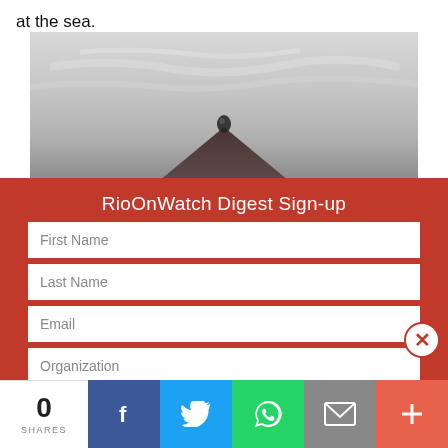at the sea.
[Figure (photo): Black and white photo showing a dark triangular tent or umbrella top with a water droplet on it, against a cloudy sky]
RioOnWatch Digest Sign-up
First Name
Last Name
Email
Organization
Country
0
SHARES